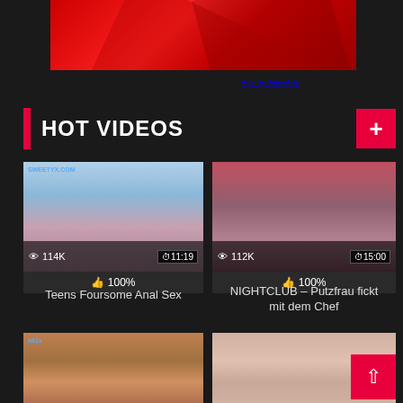[Figure (other): Red gradient banner advertisement at top]
Ads by JuicyAds
HOT VIDEOS
[Figure (photo): Video thumbnail: Teens Foursome Anal Sex, 114K views, 11:19, 100%]
Teens Foursome Anal Sex
[Figure (photo): Video thumbnail: NIGHTCLUB Putzfrau fickt mit dem Chef, 112K views, 15:00, 100%]
NIGHTCLUB – Putzfrau fickt mit dem Chef
[Figure (photo): Video thumbnail bottom left: redhead woman with glasses]
[Figure (photo): Video thumbnail bottom right: close-up]